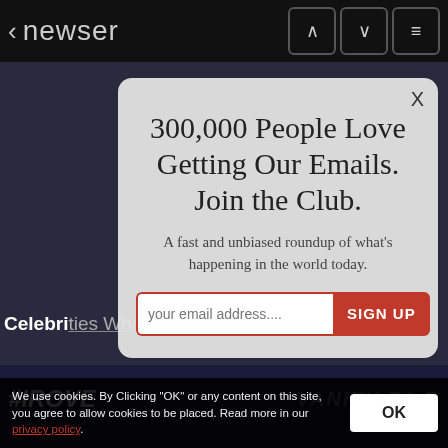< newser
[Figure (screenshot): Dark background showing partial webpage content behind modal overlay. Celebrities text visible: 'Celebrities Who Are BFF With Their Moms'. Bottom shows partial images with '#PROVE' text and 'VANITY FAIR' logo.]
300,000 People Love Getting Our Emails. Join the Club.
A fast and unbiased roundup of what's happening in the world today.
your email address....   SIGN UP
We use cookies. By Clicking "OK" or any content on this site, you agree to allow cookies to be placed. Read more in our privacy policy.